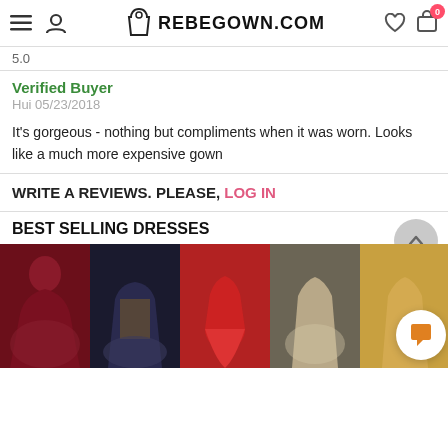REBEGOWN.COM
5.0
Verified Buyer
Hui 05/23/2018
It's gorgeous - nothing but compliments when it was worn. Looks like a much more expensive gown
WRITE A REVIEWS. PLEASE, LOG IN
BEST SELLING DRESSES
[Figure (photo): Five dress product images showing formal/prom gowns in red and champagne colors]